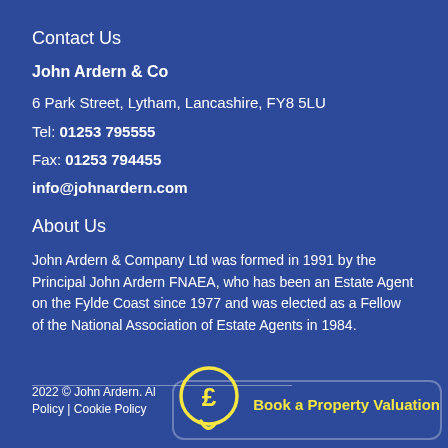Contact Us
John Ardern & Co
6 Park Street, Lytham, Lancashire, FY8 5LU
Tel: 01253 795555
Fax: 01253 794455
info@johnardern.com
About Us
John Ardern & Company Ltd was formed in 1991 by the Principal John Ardern FNAEA, who has been an Estate Agent on the Fylde Coast since 1977 and was elected as a Fellow of the National Association of Estate Agents in 1984.
2022 © John Ardern. Al... Policy | Cookie Policy
[Figure (illustration): Yellow pound sign speech bubble icon with 'Book a Property Valuation' text in yellow]